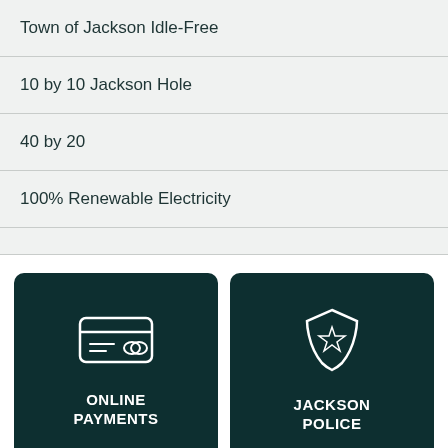Town of Jackson Idle-Free
10 by 10 Jackson Hole
40 by 20
100% Renewable Electricity
[Figure (infographic): Dark teal card with credit card icon and label ONLINE PAYMENTS]
[Figure (infographic): Dark teal card with police badge/shield icon and label JACKSON POLICE]